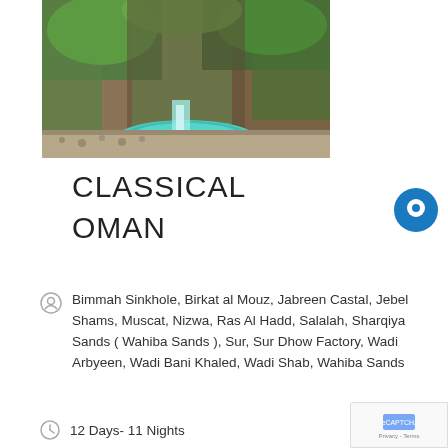[Figure (photo): Scenic photograph of a green moss-covered canyon with turquoise water pool and small waterfall, stone-paved walkway visible]
CLASSICAL OMAN
Bimmah Sinkhole, Birkat al Mouz, Jabreen Castal, Jebel Shams, Muscat, Nizwa, Ras Al Hadd, Salalah, Sharqiya Sands ( Wahiba Sands ), Sur, Sur Dhow Factory, Wadi Arbyeen, Wadi Bani Khaled, Wadi Shab, Wahiba Sands
12 Days- 11 Nights